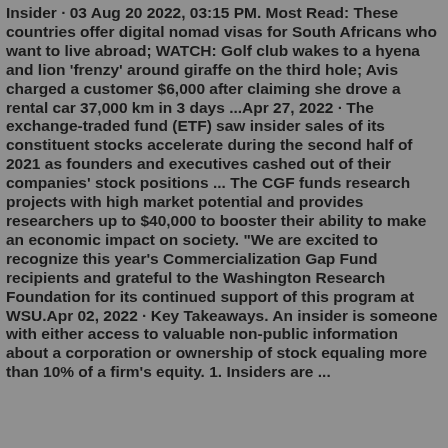Insider · 03 Aug 20 2022, 03:15 PM. Most Read: These countries offer digital nomad visas for South Africans who want to live abroad; WATCH: Golf club wakes to a hyena and lion 'frenzy' around giraffe on the third hole; Avis charged a customer $6,000 after claiming she drove a rental car 37,000 km in 3 days ...Apr 27, 2022 · The exchange-traded fund (ETF) saw insider sales of its constituent stocks accelerate during the second half of 2021 as founders and executives cashed out of their companies' stock positions ... The CGF funds research projects with high market potential and provides researchers up to $40,000 to booster their ability to make an economic impact on society. "We are excited to recognize this year's Commercialization Gap Fund recipients and grateful to the Washington Research Foundation for its continued support of this program at WSU.Apr 02, 2022 · Key Takeaways. An insider is someone with either access to valuable non-public information about a corporation or ownership of stock equaling more than 10% of a firm's equity. 1. Insiders are ...